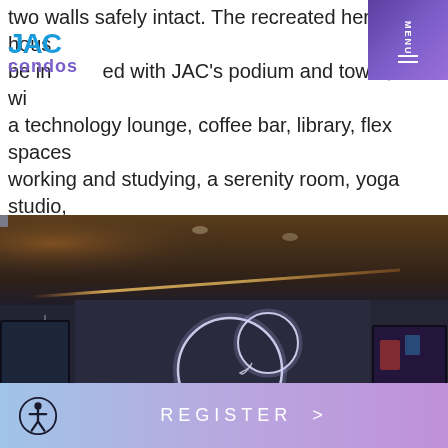JAC Condos - MENU
two walls safely intact. The recreated heritage house will be integrated with JAC's podium and tower, and will include a technology lounge, coffee bar, library, flex spaces for working and studying, a serenity room, yoga studio, gaming and movie room, bar, arts and crafts studio and multi-purpose room.
[Figure (photo): Interior render of a modern gaming and movie room with dark walls, ceiling lighting strip, circular neon wall art shaped like speech bubbles, large screens on the walls, and plush seating.]
REGISTER >